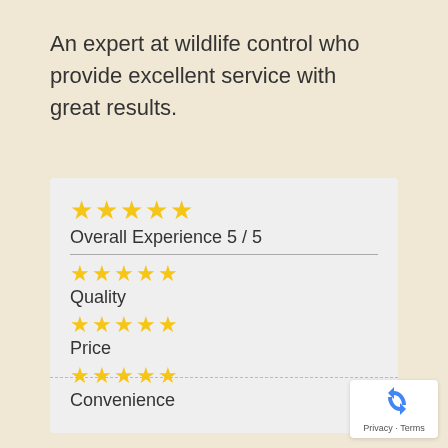An expert at wildlife control who provide excellent service with great results.
| ★★★★★ |  |
| Overall Experience 5 / 5 |  |
| ★★★★★ |  |
| Quality |  |
| ★★★★★ |  |
| Price |  |
| ★★★★★ |  |
| Convenience |  |
[Figure (logo): Google reCAPTCHA privacy badge with recycling arrow icon and Privacy - Terms text]